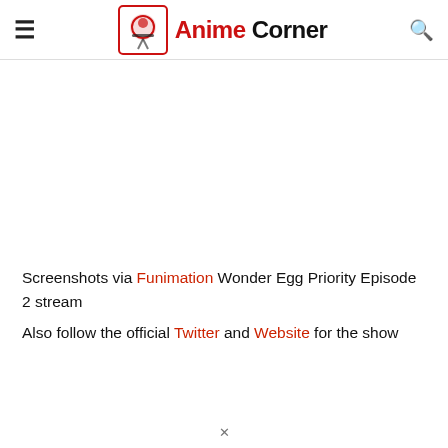Anime Corner
[Figure (other): Blank advertisement/image area]
Screenshots via Funimation Wonder Egg Priority Episode 2 stream
Also follow the official Twitter and Website for the show